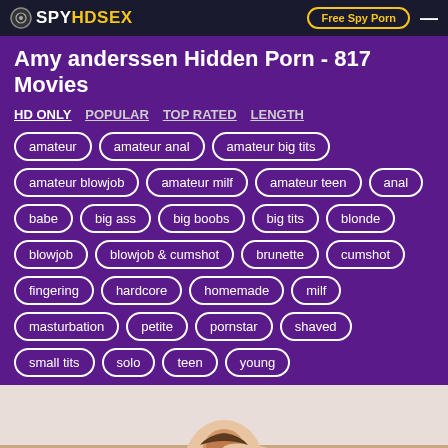SPYHDSEX | Free Spy Porn
Amy anderssen Hidden Porn - 817 Movies
HD ONLY  POPULAR  TOP RATED  LENGTH
amateur
amateur anal
amateur big tits
amateur blowjob
amateur milf
amateur teen
anal
babe
big ass
big boobs
big tits
blonde
blowjob
blowjob & cumshot
brunette
cumshot
fingering
hardcore
homemade
milf
masturbation
petite
pornstar
shaved
small tits
solo
teen
young
[Figure (photo): Thumbnail photo of a woman with brown hair raising her arms]